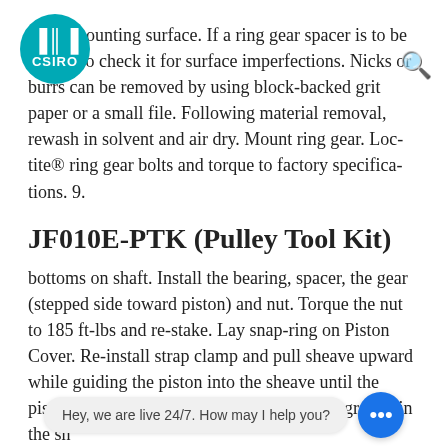on its mounting surface. If a ring gear spacer is to be used also check it for surface imperfections. Nicks or burrs can be removed by using block-backed grit paper or a small file. Following material removal, rewash in solvent and air dry. Mount ring gear. Loctite® ring gear bolts and torque to factory specifications. 9.
JF010E-PTK (Pulley Tool Kit)
bottoms on shaft. Install the bearing, spacer, the gear (stepped side toward piston) and nut. Torque the nut to 185 ft-lbs and re-stake. Lay snap-ring on Piston Cover. Re-install strap clamp and pull sheave upward while guiding the piston into the sheave until the piston & cover are just below the snap-ring groove in the sh